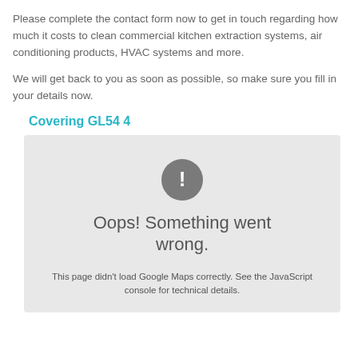Please complete the contact form now to get in touch regarding how much it costs to clean commercial kitchen extraction systems, air conditioning products, HVAC systems and more.
We will get back to you as soon as possible, so make sure you fill in your details now.
Covering GL54 4
[Figure (screenshot): Google Maps error box with exclamation icon and text: 'Oops! Something went wrong. This page didn't load Google Maps correctly. See the JavaScript console for technical details.']